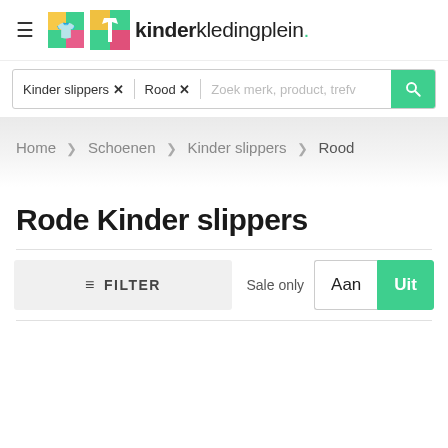kinderkledingplein.
Kinder slippers × Rood × Zoek merk, product, trefv
Home > Schoenen > Kinder slippers > Rood
Rode Kinder slippers
≡ FILTER | Sale only  Aan  Uit